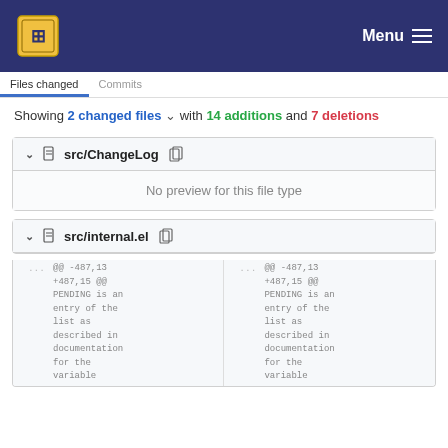Menu
Showing 2 changed files with 14 additions and 7 deletions
src/ChangeLog
No preview for this file type
src/internal.el
| ... | @@ -487,13 +487,15 @@
PENDING is an
entry of the
list as
described in
documentation
for the
variable | ... | @@ -487,13 +487,15 @@
PENDING is an
entry of the
list as
described in
documentation
for the
variable |
| --- | --- | --- | --- |